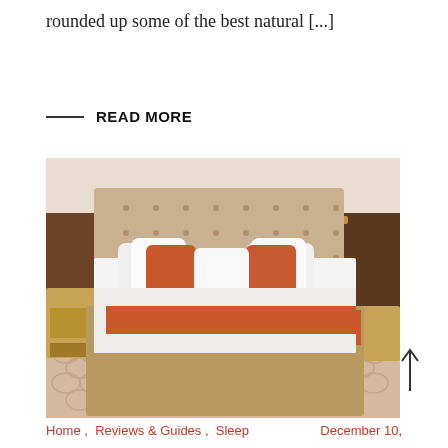rounded up some of the best natural [...]
READ MORE
[Figure (photo): Hotel room with a large king-sized bed featuring an upholstered beige headboard, orange accent pillows and bed runner, white bedding, wooden side tables with lamps, and a patterned carpet floor.]
Home , Reviews & Guides , Sleep    December 10,